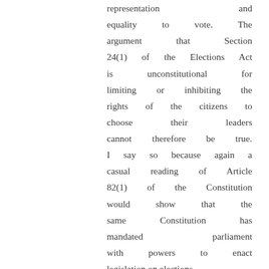representation and equality to vote. The argument that Section 24(1) of the Elections Act is unconstitutional for limiting or inhibiting the rights of the citizens to choose their leaders cannot therefore be true. I say so because again a casual reading of Article 82(1) of the Constitution would show that the same Constitution has mandated parliament with powers to enact legislation on elections.